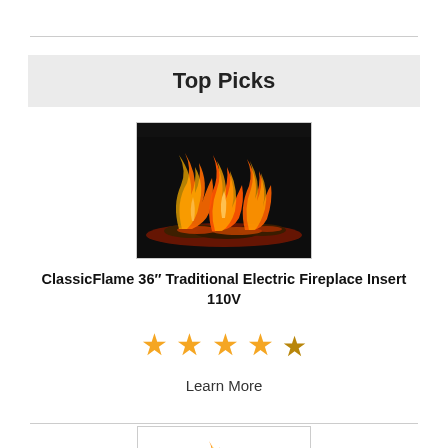Top Picks
[Figure (photo): ClassicFlame electric fireplace insert showing flames over logs, dark casing, rectangular shape]
ClassicFlame 36″ Traditional Electric Fireplace Insert 110V
★★★★✩ (4.5 stars)
Learn More
[Figure (photo): Second electric fireplace product image, partially visible, showing flames and logs on white background]